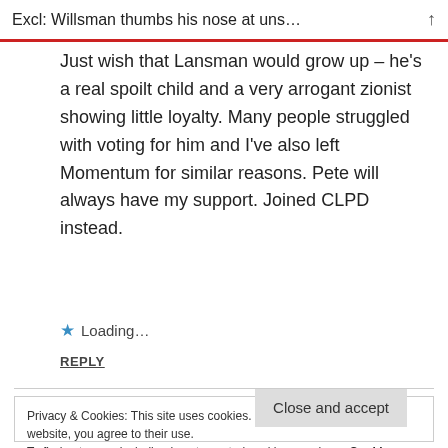Excl: Willsman thumbs his nose at uns…
Just wish that Lansman would grow up – he's a real spoilt child and a very arrogant zionist showing little loyalty. Many people struggled with voting for him and I've also left Momentum for similar reasons. Pete will always have my support. Joined CLPD instead.
Loading…
REPLY
Privacy & Cookies: This site uses cookies. By continuing to use this website, you agree to their use.
To find out more, including how to control cookies, see here: Cookie Policy